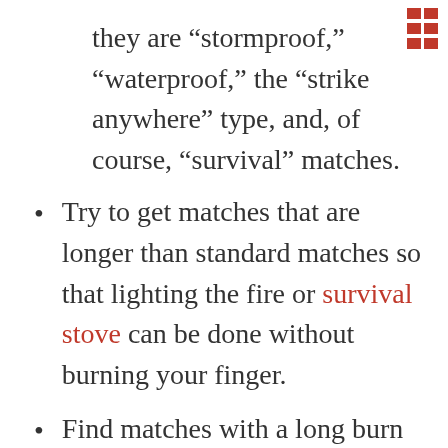[Figure (other): Red grid/table menu icon in top right corner]
they are “stormproof,” “waterproof,” the “strike anywhere” type, and, of course, “survival” matches.
Try to get matches that are longer than standard matches so that lighting the fire or survival stove can be done without burning your finger.
Find matches with a long burn time